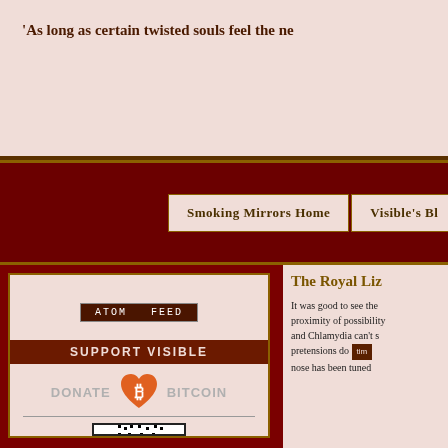'As long as certain twisted souls feel the ne
ATOM FEED
SUPPORT VISIBLE
[Figure (illustration): Bitcoin donation button with orange heart and Bitcoin symbol, with QR code below]
The Royal Liz
It was good to see the proximity of possibility and Chlamydia can't s pretensions do tim nose has been tuned